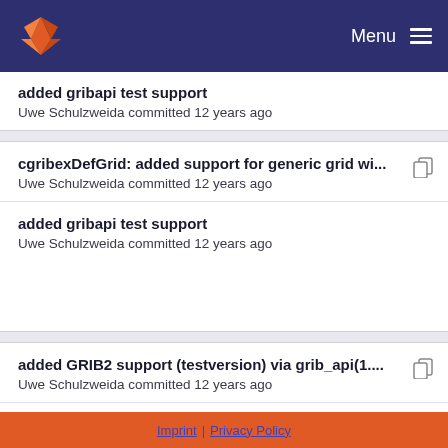Menu
added gribapi test support
Uwe Schulzweida committed 12 years ago
cgribexDefGrid: added support for generic grid wi...
Uwe Schulzweida committed 12 years ago
added gribapi test support
Uwe Schulzweida committed 12 years ago
added GRIB2 support (testversion) via grib_api(1....
Uwe Schulzweida committed 12 years ago
added gribapi test support
Uwe Schulzweida committed 12 years ago
Imprint | Privacy Policy